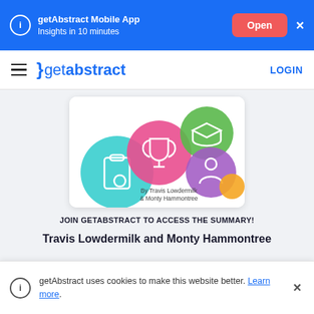getAbstract Mobile App — Insights in 10 minutes — Open — ×
≡ getabstract LOGIN
[Figure (illustration): Book cover thumbnail for 'The Customer-Driven Playbook' by Travis Lowdermilk & Monty Hammontree, showing colorful circles with icons (trophy, person, graduation cap, clipboard with heart) on a white card background]
JOIN GETABSTRACT TO ACCESS THE SUMMARY!
Travis Lowdermilk and Monty Hammontree
The Customer-Driven
getAbstract uses cookies to make this website better. Learn more.